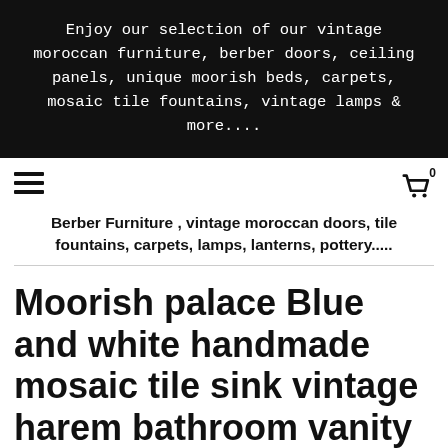Enjoy our selection of our vintage moroccan furniture, berber doors, ceiling panels, unique moorish beds, carpets, mosaic tile fountains, vintage lamps & more....
[Figure (other): Hamburger menu icon (three horizontal lines) on the left, shopping cart icon with count 0 on the right]
Berber Furniture , vintage moroccan doors, tile fountains, carpets, lamps, lanterns, pottery.....
Moorish palace Blue and white handmade mosaic tile sink vintage harem bathroom vanity unique architecture moroccan sink top made of concrete